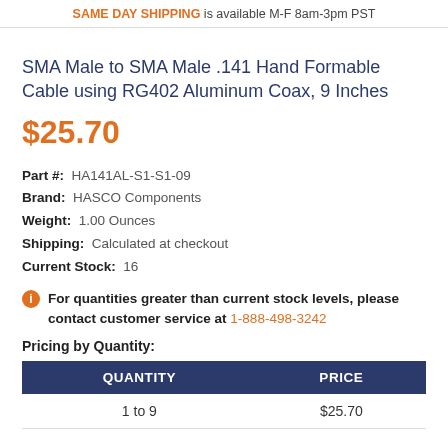SAME DAY SHIPPING is available M-F 8am-3pm PST
SMA Male to SMA Male .141 Hand Formable Cable using RG402 Aluminum Coax, 9 Inches
$25.70
Part #: HA141AL-S1-S1-09
Brand: HASCO Components
Weight: 1.00 Ounces
Shipping: Calculated at checkout
Current Stock: 16
For quantities greater than current stock levels, please contact customer service at 1-888-498-3242
Pricing by Quantity:
| QUANTITY | PRICE |
| --- | --- |
| 1 to 9 | $25.70 |